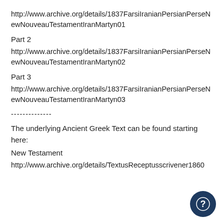http://www.archive.org/details/1837FarsiIranianPersianPerseNewNouveauTestamentIranMartyn01
Part 2
http://www.archive.org/details/1837FarsiIranianPersianPerseNewNouveauTestamentIranMartyn02
Part 3
http://www.archive.org/details/1837FarsiIranianPersianPerseNewNouveauTestamentIranMartyn03
--------------
The underlying Ancient Greek Text can be found starting here:
New Testament
http://www.archive.org/details/TextusReceptusscrivener1860